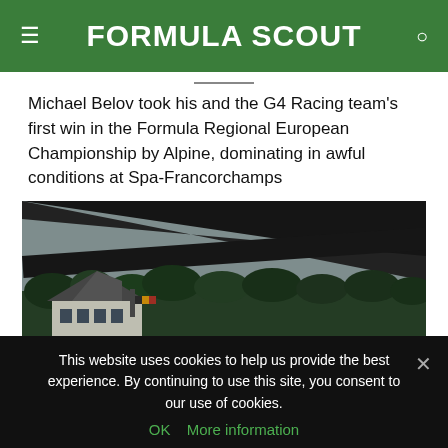FORMULA SCOUT
Michael Belov took his and the G4 Racing team's first win in the Formula Regional European Championship by Alpine, dominating in awful conditions at Spa-Francorchamps
[Figure (photo): Angled photograph taken from low under a car wing or barrier at Spa-Francorchamps circuit, showing the track facilities building with a Belgian flag, trees in the background and overcast sky]
This website uses cookies to help us provide the best experience. By continuing to use this site, you consent to our use of cookies.
OK   More information